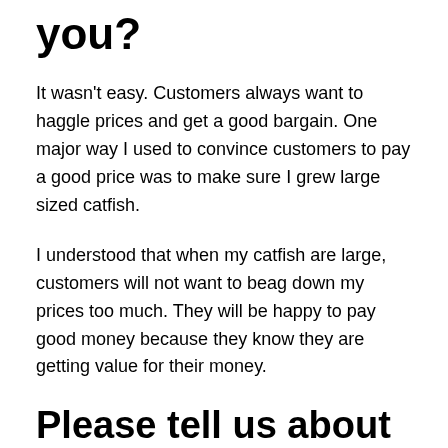you?
It wasn't easy. Customers always want to haggle prices and get a good bargain. One major way I used to convince customers to pay a good price was to make sure I grew large sized catfish.
I understood that when my catfish are large, customers will not want to beag down my prices too much. They will be happy to pay good money because they know they are getting value for their money.
Please tell us about a time when you had issues with negotiating th...